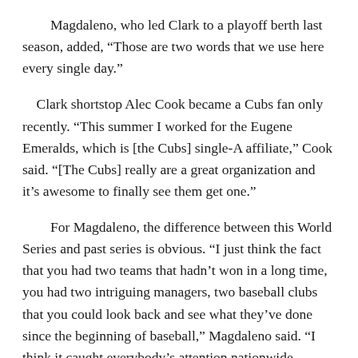Magdaleno, who led Clark to a playoff berth last season, added, “Those are two words that we use here every single day.”
Clark shortstop Alec Cook became a Cubs fan only recently. “This summer I worked for the Eugene Emeralds, which is [the Cubs] single-A affiliate,” Cook said. “[The Cubs] really are a great organization and it’s awesome to finally see them get one.”
For Magdaleno, the difference between this World Series and past series is obvious. “I just think the fact that you had two teams that hadn’t won in a long time, you had two intriguing managers, two baseball clubs that you could look back and see what they’ve done since the beginning of baseball,” Magdaleno said. “I think it caught everybody’s attention nationwide. Baseball is America.”